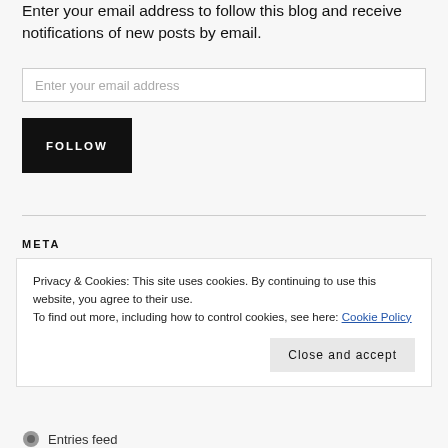Enter your email address to follow this blog and receive notifications of new posts by email.
Enter your email address
FOLLOW
META
Privacy & Cookies: This site uses cookies. By continuing to use this website, you agree to their use.
To find out more, including how to control cookies, see here: Cookie Policy
Close and accept
Entries feed